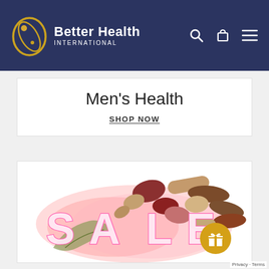[Figure (logo): Better Health International logo with orbital ellipse and dot graphic in yellow/gold, company name in white on dark navy background with search, cart, and hamburger menu icons]
Men's Health
SHOP NOW
[Figure (photo): Sale banner image showing various supplement pills and tablets arranged with glowing neon pink SALE lettering and a green leaf, on white background]